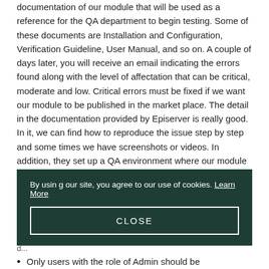documentation of our module that will be used as a reference for the QA department to begin testing. Some of these documents are Installation and Configuration, Verification Guideline, User Manual, and so on. A couple of days later, you will receive an email indicating the errors found along with the level of affectation that can be critical, moderate and low. Critical errors must be fixed if we want our module to be published in the market place. The detail in the documentation provided by Episerver is really good. In it, we can find how to reproduce the issue step by step and some times we have screenshots or videos. In addition, they set up a QA environment where our module is installed, so we can reproduce the issue easily.
[Figure (screenshot): Cookie consent banner with dark green background. Text reads: 'By using our site, you agree to our use of cookies. Learn More'. Below is a CLOSE button with white border.]
Only users with the role of Admin should be